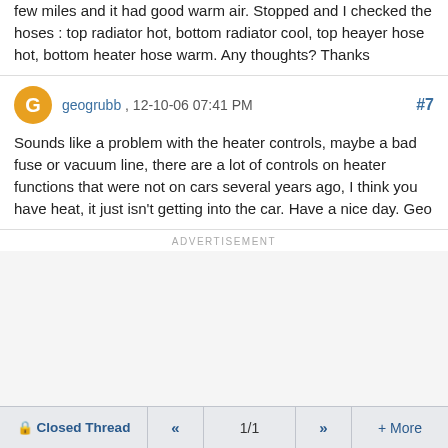few miles and it had good warm air. Stopped and I checked the hoses : top radiator hot, bottom radiator cool, top heayer hose hot, bottom heater hose warm. Any thoughts? Thanks
geogrubb , 12-10-06 07:41 PM #7
Sounds like a problem with the heater controls, maybe a bad fuse or vacuum line, there are a lot of controls on heater functions that were not on cars several years ago, I think you have heat, it just isn't getting into the car. Have a nice day. Geo
ADVERTISEMENT
Closed Thread << 1/1 >> + More